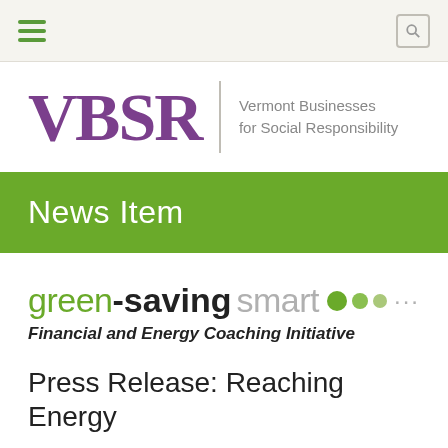Navigation bar with hamburger menu and search icon
[Figure (logo): VBSR logo — large purple serif letters 'VBSR' with vertical divider and tagline 'Vermont Businesses for Social Responsibility']
News Item
[Figure (logo): green-saving smart Financial and Energy Coaching Initiative logo with colored dots]
Press Release: Reaching Energy